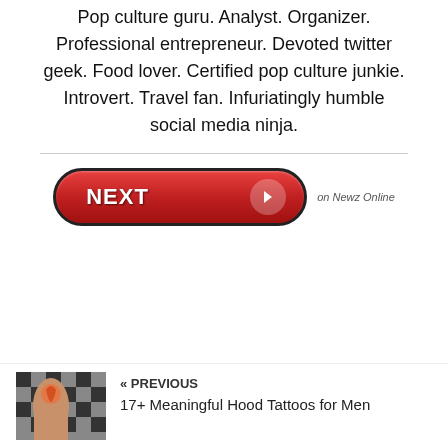Pop culture guru. Analyst. Organizer. Professional entrepreneur. Devoted twitter geek. Food lover. Certified pop culture junkie. Introvert. Travel fan. Infuriatingly humble social media ninja.
[Figure (other): A red pill-shaped NEXT button with a right-arrow icon, followed by 'on Newz Online' text]
[Figure (photo): Thumbnail image of a tattoo on a leg, with a checkered background]
« PREVIOUS
17+ Meaningful Hood Tattoos for Men